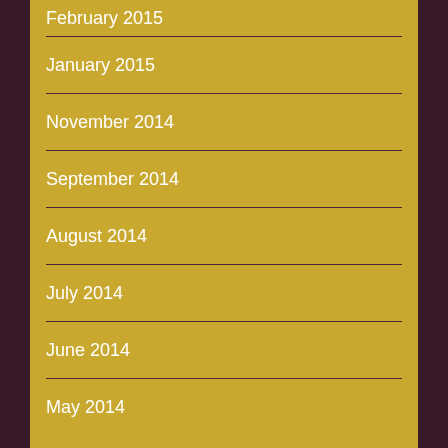February 2015
January 2015
November 2014
September 2014
August 2014
July 2014
June 2014
May 2014
April 2014
March 2014